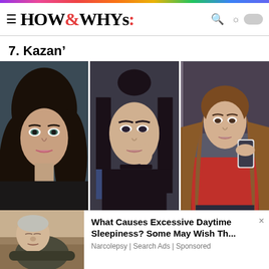HOW&WHYs
7. Kazan'
[Figure (photo): Three photos of young women from Kazan: left - dark-haired woman with green eyes close-up portrait; center - dark-haired woman with bun and choker in dark outfit; right - woman in red hoodie taking mirror selfie with iPhone]
[Figure (photo): Advertisement photo: elderly man sleeping/dozing in chair]
What Causes Excessive Daytime Sleepiness? Some May Wish Th...
Narcolepsy | Search Ads | Sponsored